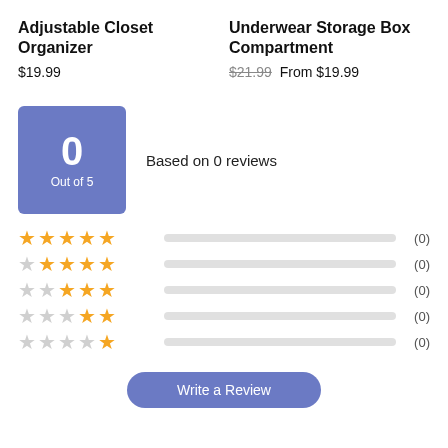Adjustable Closet Organizer
$19.99
Underwear Storage Box Compartment
$21.99 From $19.99
0 Out of 5
Based on 0 reviews
5 stars (0)
4 stars (0)
3 stars (0)
2 stars (0)
1 star (0)